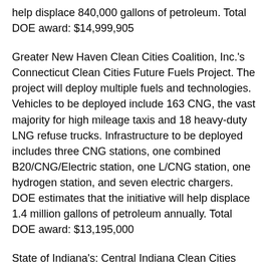help displace 840,000 gallons of petroleum. Total DOE award: $14,999,905
Greater New Haven Clean Cities Coalition, Inc.'s Connecticut Clean Cities Future Fuels Project. The project will deploy multiple fuels and technologies. Vehicles to be deployed include 163 CNG, the vast majority for high mileage taxis and 18 heavy-duty LNG refuse trucks. Infrastructure to be deployed includes three CNG stations, one combined B20/CNG/Electric station, one L/CNG station, one hydrogen station, and seven electric chargers. DOE estimates that the initiative will help displace 1.4 million gallons of petroleum annually. Total DOE award: $13,195,000
State of Indiana's: Central Indiana Clean Cities Alliance Comprehensive Alternative Fuels Implementation Plan. The project will implement propane, compressed natural gas, and hybrid vehicles from light- to heavy-duty and infrastructure for compressed CNG and LNG stations. The